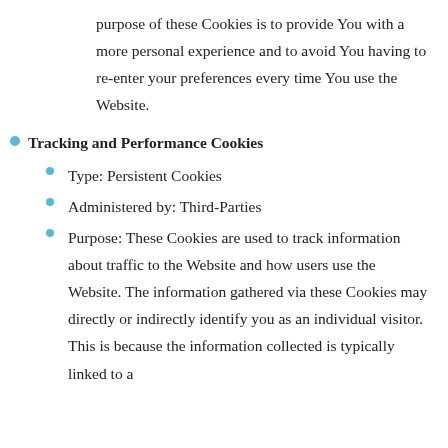purpose of these Cookies is to provide You with a more personal experience and to avoid You having to re-enter your preferences every time You use the Website.
Tracking and Performance Cookies
Type: Persistent Cookies
Administered by: Third-Parties
Purpose: These Cookies are used to track information about traffic to the Website and how users use the Website. The information gathered via these Cookies may directly or indirectly identify you as an individual visitor. This is because the information collected is typically linked to a